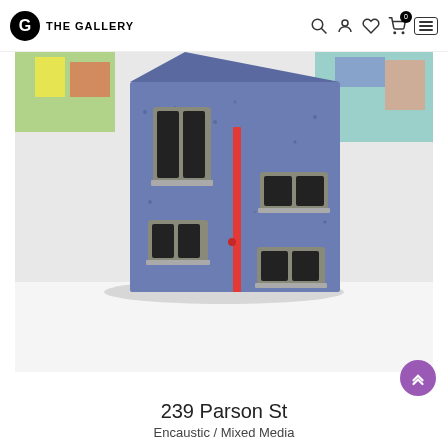THE GALLERY
[Figure (photo): A blue encaustic/mixed media sculpture resembling a building facade with windows and a red vertical stripe, displayed on a white surface in a gallery setting.]
239 Parson St
Encaustic / Mixed Media